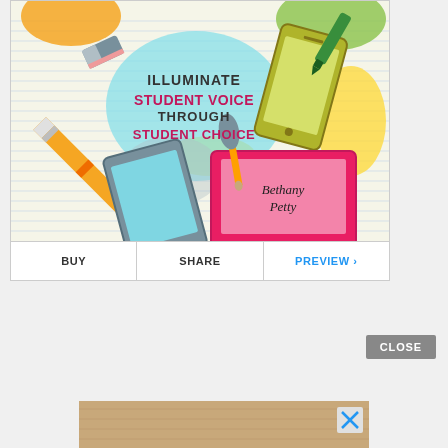[Figure (illustration): Book cover illustration for 'Illuminate Student Voice Through Student Choice' by Bethany Petty. Features school supply illustrations: pencil, tablet, smartphone, laptop with author name on screen, paintbrush, eraser, and colorful paint splatters on lined notebook paper background.]
BUY | SHARE | PREVIEW >
CLOSE
[Figure (photo): Partial advertisement banner at bottom of page showing a wooden surface, with a blue X close button on the right side.]